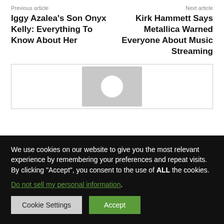Previous article
Iggy Azalea's Son Onyx Kelly: Everything To Know About Her
Next article
Kirk Hammett Says Metallica Warned Everyone About Music Streaming
[Figure (illustration): User avatar placeholder with grey background and white circle]
We use cookies on our website to give you the most relevant experience by remembering your preferences and repeat visits. By clicking “Accept”, you consent to the use of ALL the cookies.
Do not sell my personal information.
Cookie Settings
Accept